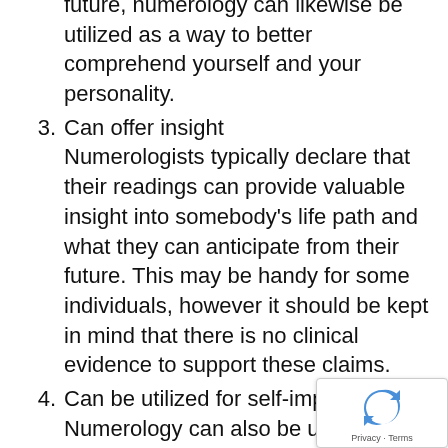future, numerology can likewise be utilized as a way to better comprehend yourself and your personality.
3. Can offer insight Numerologists typically declare that their readings can provide valuable insight into somebody's life path and what they can anticipate from their future. This may be handy for some individuals, however it should be kept in mind that there is no clinical evidence to support these claims.
4. Can be utilized for self-improvement Numerology can also be utilized for self-improvement. Numerous numerologists offer life coaching services, which can help someone make decisions based on the